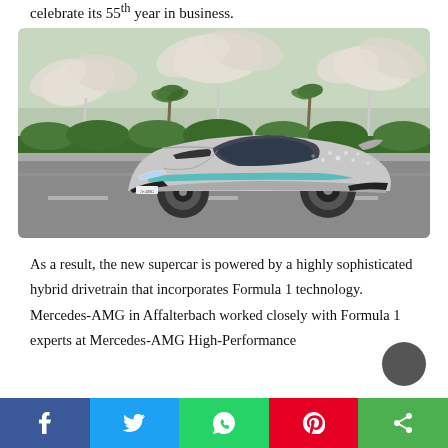celebrate its 55th year in business.
[Figure (photo): A silver Mercedes-AMG One hypercar parked on a road with large sculptural canopy structures and palm trees in the background, shot in an urban environment.]
As a result, the new supercar is powered by a highly sophisticated hybrid drivetrain that incorporates Formula 1 technology. Mercedes-AMG in Affalterbach worked closely with Formula 1 experts at Mercedes-AMG High-Performance
Facebook | Twitter | WhatsApp | Pinterest | Share